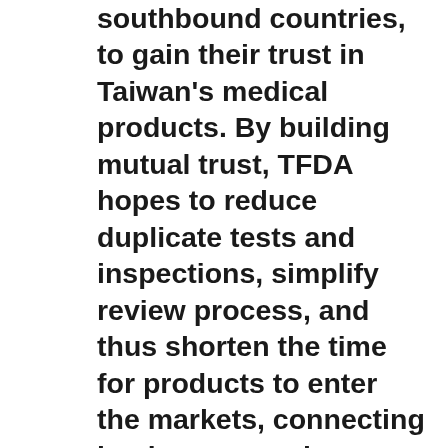southbound countries, to gain their trust in Taiwan's medical products. By building mutual trust, TFDA hopes to reduce duplicate tests and inspections, simplify review process, and thus shorten the time for products to enter the markets, connecting businesses and eventually promoting medical industry development within the region.
To reach the goal previously mentioned, TFDA takes actions as follows: actively analyzing the changes of laws and regulations on medical product management in South Asian countries, holding conferences, providing training courses for pharmaceutical regulation harmonization, inviting speakers from ASEAN members to share key updates, encouraging the industry representatives to share experiences in expanding markets southward and the difficulties faced, as well as creating a webpage with information